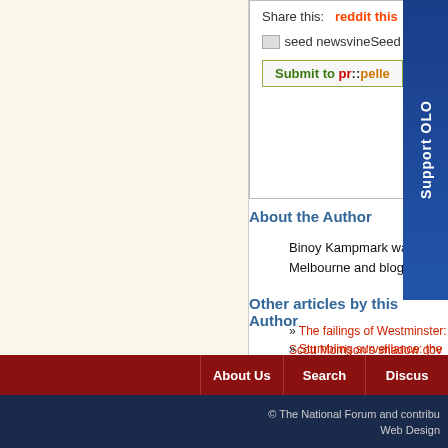[Figure (screenshot): Social sharing buttons including Reddit, seed newsvine, and Submit to propeller]
About the Author
Binoy Kampmark was a Commonwealth Scholar at Selwyn Melbourne and blogs at Oz Moses.
Other articles by this Author
» The failings of Westminster: Scott Morrison's shadow gov
» Stumbling surveillance: the end of the COVIDSafe app - A
» Nancy Pelosi, you silly biddy - August 8, 2022
» The fuss about Monkeypox - August 5, 2022
» Facial recognition technology down under - August 1, 202
All articles by Binoy Kampmark
This work is licensed under a
About Us   Search   Discuss
© The National Forum and contribu Web Design